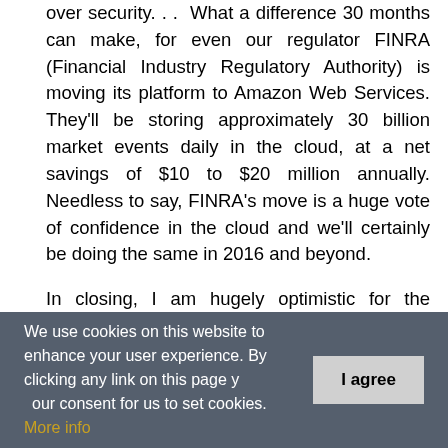over security. . .  What a difference 30 months can make, for even our regulator FINRA (Financial Industry Regulatory Authority) is moving its platform to Amazon Web Services. They'll be storing approximately 30 billion market events daily in the cloud, at a net savings of $10 to $20 million annually. Needless to say, FINRA's move is a huge vote of confidence in the cloud and we'll certainly be doing the same in 2016 and beyond.
In closing, I am hugely optimistic for the brokerage industry, the IT profession as a whole, and women in our business as we start the New Year. While consumer technology may get the press buzz, developments in financial services specifically and
We use cookies on this website to enhance your user experience. By clicking any link on this page you give your consent for us to set cookies. More info